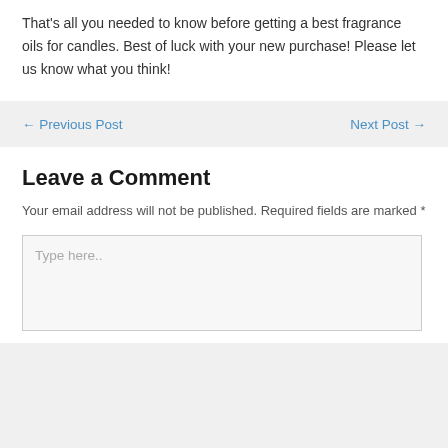That's all you needed to know before getting a best fragrance oils for candles. Best of luck with your new purchase! Please let us know what you think!
← Previous Post
Next Post →
Leave a Comment
Your email address will not be published. Required fields are marked *
Type here..